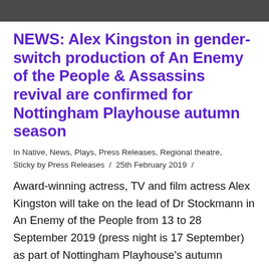[Figure (photo): Dark image strip at top of page, appearing to be a cropped photograph]
NEWS: Alex Kingston in gender-switch production of An Enemy of the People & Assassins revival are confirmed for Nottingham Playhouse autumn season
In Native, News, Plays, Press Releases, Regional theatre, Sticky by Press Releases / 25th February 2019 /
Award-winning actress, TV and film actress Alex Kingston will take on the lead of Dr Stockmann in An Enemy of the People from 13 to 28 September 2019 (press night is 17 September) as part of Nottingham Playhouse's autumn season.